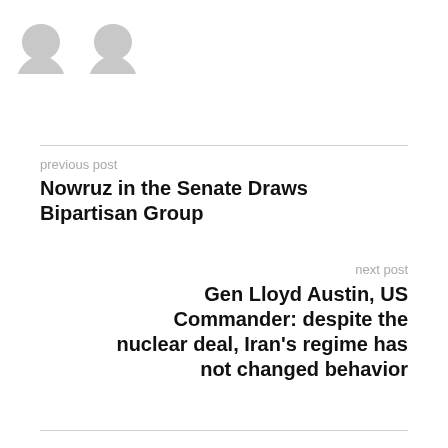[Figure (illustration): Two grey avatar/user silhouette icons side by side at top of page]
previous post
Nowruz in the Senate Draws Bipartisan Group
next post
Gen Lloyd Austin, US Commander: despite the nuclear deal, Iran’s regime has not changed behavior
RELATED POSTS
[Figure (photo): Three decorative curtain panels with ornate swag valances in gold and beige tones, set against a white/cream wall with grey rectangular wall elements between panels]